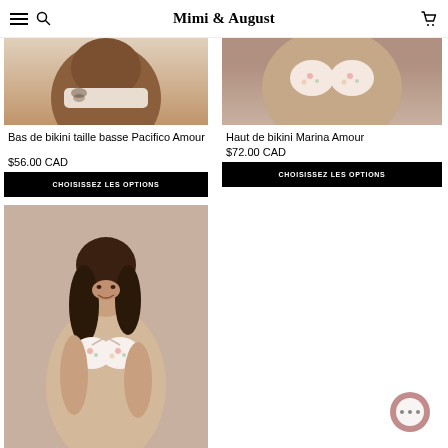Mimi & August
[Figure (photo): Partial view of a dark-skinned model wearing a low-waist bikini bottom in beige/cream color - Pacifico Amour]
Bas de bikini taille basse Pacifico Amour
$56.00 CAD
CHOISISSEZ LES OPTIONS
[Figure (photo): Partial view of a model wearing a floral bikini top - Marina Amour, set against a beige/tan background]
Haut de bikini Marina Amour
$72.00 CAD
CHOISISSEZ LES OPTIONS
[Figure (photo): Young woman with long dark hair smiling, wearing a floral bikini top (Marina Amour), pink/mauve background]